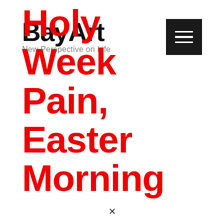BayArt
New Perspective on Life
[Figure (other): Hamburger menu button — dark square with three white horizontal lines]
Holy Week Pain, Easter Morning